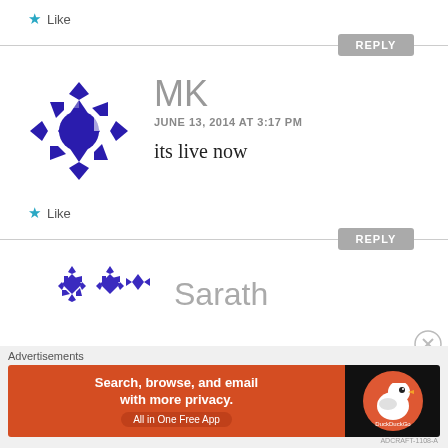★ Like
REPLY
[Figure (logo): Blue and white geometric kaleidoscope avatar for user MK]
MK
JUNE 13, 2014 AT 3:17 PM
its live now
★ Like
REPLY
[Figure (logo): Blue and white geometric kaleidoscope avatar for user Sarath (partial)]
Sarath
Advertisements
[Figure (infographic): DuckDuckGo advertisement banner: Search, browse, and email with more privacy. All in One Free App]